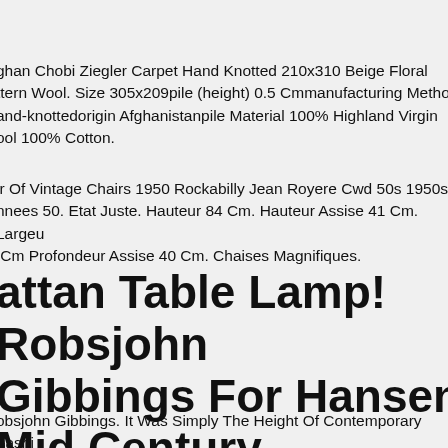ghan Chobi Ziegler Carpet Hand Knotted 210x310 Beige Floral ttern Wool. Size 305x209pile (height) 0.5 Cmmanufacturing Method and-knottedorigin Afghanistanpile Material 100% Highland Virgin ool 100% Cotton.
ir Of Vintage Chairs 1950 Rockabilly Jean Royere Cwd 50s 1950s nnees 50. Etat Juste. Hauteur 84 Cm. Hauteur Assise 41 Cm. Largeur Cm Profondeur Assise 40 Cm. Chaises Magnifiques.
attan Table Lamp! Robsjohn Gibbings For Hansen! Mid Century Modern 1950s Deco
obsjohn Gibbings. It Was Simply The Height Of Contemporary Fashion nd Robsjohn Gibbings Managed To Give. Gorgeous Gibbings umination. House & Garden Magazine Featured Rattan And Bamb